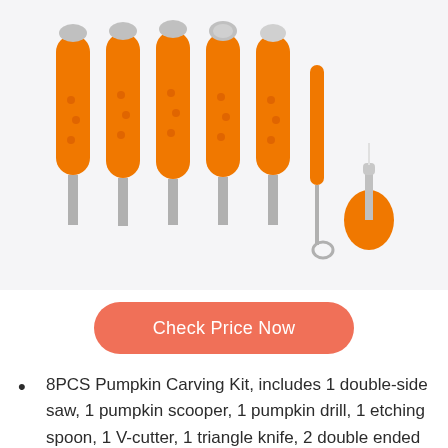[Figure (photo): Product photo showing 8 pumpkin carving tools with orange handles arranged in a row against a light gray background. Tools include saws, scooper, drill, etching spoon, V-cutter, triangle knife, sculpting ribbon loop tools, and a small bulb-shaped tool.]
Check Price Now
8PCS Pumpkin Carving Kit, includes 1 double-side saw, 1 pumpkin scooper, 1 pumpkin drill, 1 etching spoon, 1 V-cutter, 1 triangle knife, 2 double ended sculpting ribbon loop tools (O-Shaped and V-Shaped). All 8-piece professional carving tools are packed in a zippered nylon